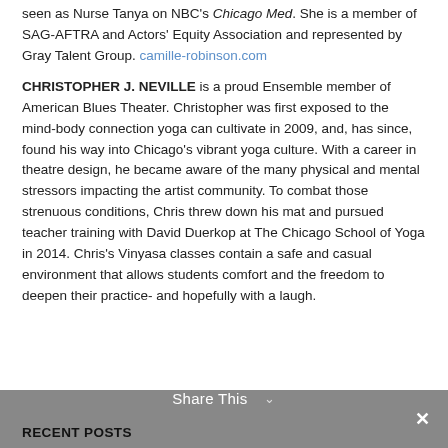seen as Nurse Tanya on NBC's Chicago Med. She is a member of SAG-AFTRA and Actors' Equity Association and represented by Gray Talent Group. camille-robinson.com
CHRISTOPHER J. NEVILLE is a proud Ensemble member of American Blues Theater. Christopher was first exposed to the mind-body connection yoga can cultivate in 2009, and, has since, found his way into Chicago's vibrant yoga culture. With a career in theatre design, he became aware of the many physical and mental stressors impacting the artist community. To combat those strenuous conditions, Chris threw down his mat and pursued teacher training with David Duerkop at The Chicago School of Yoga in 2014. Chris's Vinyasa classes contain a safe and casual environment that allows students comfort and the freedom to deepen their practice- and hopefully with a laugh.
Share This  ✓  ×
RECENT POSTS